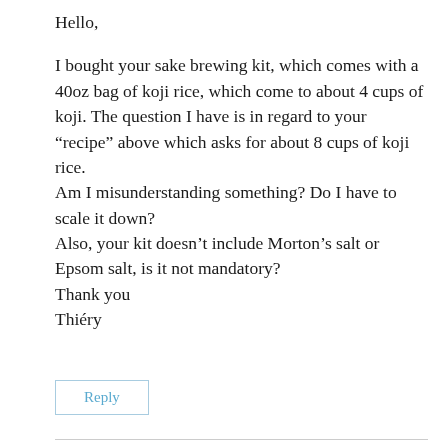Hello,
I bought your sake brewing kit, which comes with a 40oz bag of koji rice, which come to about 4 cups of koji. The question I have is in regard to your “recipe” above which asks for about 8 cups of koji rice.
Am I misunderstanding something? Do I have to scale it down?
Also, your kit doesn’t include Morton’s salt or Epsom salt, is it not mandatory?
Thank you
Thiéry
Reply